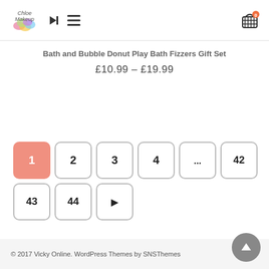Chloe Makeup [logo] [nav icons] [cart icon with 0]
Bath and Bubble Donut Play Bath Fizzers Gift Set
£10.99 – £19.99
Pagination: 1 (active), 2, 3, 4, ..., 42, 43, 44, [next arrow]
© 2017 Vicky Online. WordPress Themes by SNSThemes